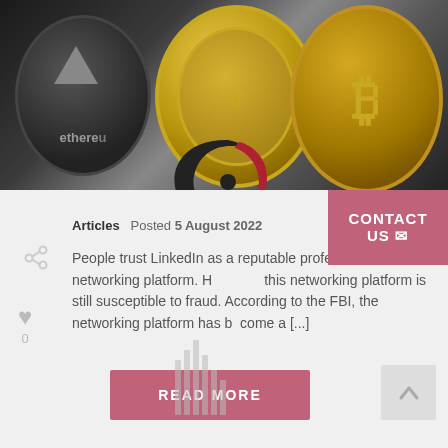[Figure (photo): Photograph of cryptocurrency coins including Ethereum (dark coin on left) and Bitcoin (gold coin on right) on a metallic surface, with a company logo overlaid at the bottom center of the image.]
Articles  Posted 5 August 2022
People trust LinkedIn as a reputable professional networking platform. However, this networking platform is still susceptible to fraud. According to the FBI, the networking platform has become a [...]
READ MORE
CONTACT US